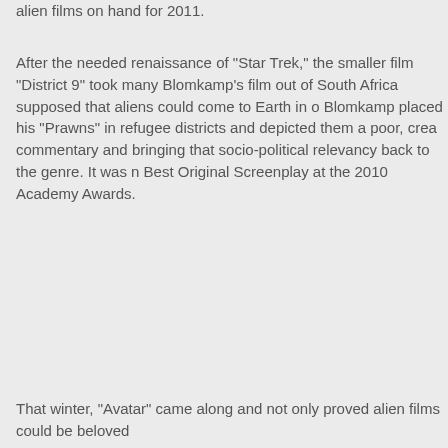alien films on hand for 2011.
After the needed renaissance of "Star Trek," the smaller film "District 9" took many. Blomkamp's film out of South Africa supposed that aliens could come to Earth in o. Blomkamp placed his "Prawns" in refugee districts and depicted them a poor, crea. commentary and bringing that socio-political relevancy back to the genre. It was n. Best Original Screenplay at the 2010 Academy Awards.
That winter, "Avatar" came along and not only proved alien films could be beloved.